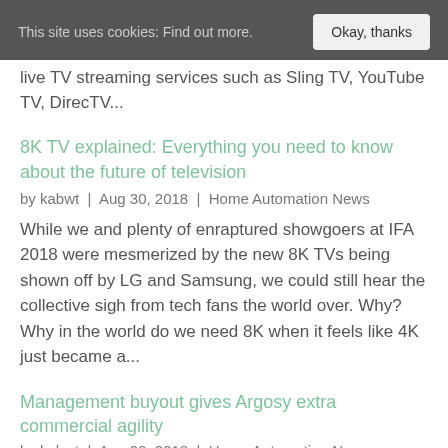This site uses cookies: Find out more. Okay, thanks
live TV streaming services such as Sling TV, YouTube TV, DirecTV...
8K TV explained: Everything you need to know about the future of television
by kabwt | Aug 30, 2018 | Home Automation News
While we and plenty of enraptured showgoers at IFA 2018 were mesmerized by the new 8K TVs being shown off by LG and Samsung, we could still hear the collective sigh from tech fans the world over. Why? Why in the world do we need 8K when it feels like 4K just became a...
Management buyout gives Argosy extra commercial agility
by kabwt | Aug 29, 2018 | Home Automation News